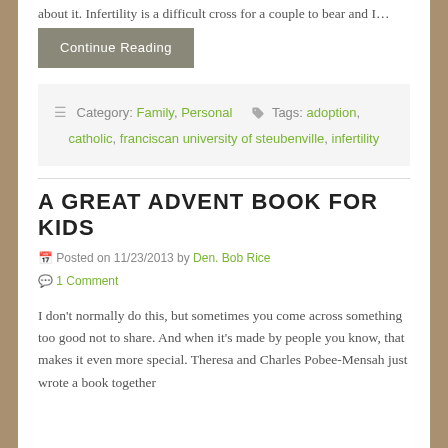about it. Infertility is a difficult cross for a couple to bear and I…
Continue Reading
☰ Category: Family, Personal   🏷 Tags: adoption, catholic, franciscan university of steubenville, infertility
A GREAT ADVENT BOOK FOR KIDS
Posted on 11/23/2013 by Den. Bob Rice
1 Comment
I don't normally do this, but sometimes you come across something too good not to share. And when it's made by people you know, that makes it even more special. Theresa and Charles Pobee-Mensah just wrote a book together